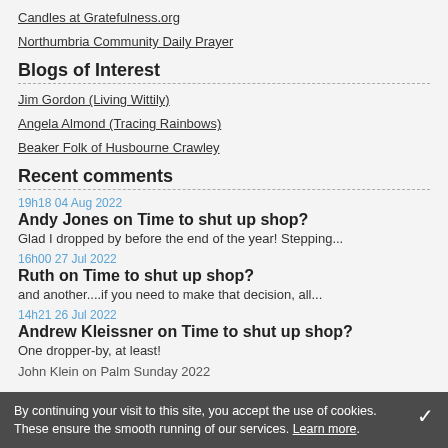Candles at Gratefulness.org
Northumbria Community Daily Prayer
Blogs of Interest
Jim Gordon (Living Wittily)
Angela Almond (Tracing Rainbows)
Beaker Folk of Husbourne Crawley
Recent comments
19h18 04 Aug 2022
Andy Jones on Time to shut up shop?
Glad I dropped by before the end of the year! Stepping...
16h00 27 Jul 2022
Ruth on Time to shut up shop?
and another....if you need to make that decision, all...
14h21 26 Jul 2022
Andrew Kleissner on Time to shut up shop?
One dropper-by, at least!
John Klein on Palm Sunday 2022
By continuing your visit to this site, you accept the use of cookies. These ensure the smooth running of our services. Learn more.